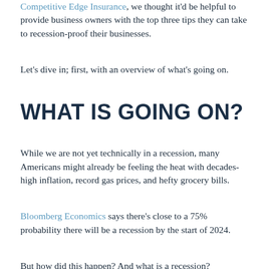Competitive Edge Insurance, we thought it'd be helpful to provide business owners with the top three tips they can take to recession-proof their businesses.
Let's dive in; first, with an overview of what's going on.
WHAT IS GOING ON?
While we are not yet technically in a recession, many Americans might already be feeling the heat with decades-high inflation, record gas prices, and hefty grocery bills.
Bloomberg Economics says there's close to a 75% probability there will be a recession by the start of 2024.
But how did this happen? And what is a recession?
WHAT IS A RECESSION?